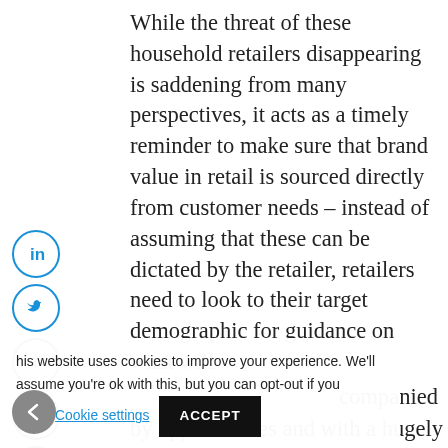While the threat of these household retailers disappearing is saddening from many perspectives, it acts as a timely reminder to make sure that brand value in retail is sourced directly from customer needs – instead of assuming that these can be dictated by the retailer, retailers need to look to their target demographic for guidance on what will [drive co]nsent away [from the 'fo]re[cast'] [accom]panied by opportunities and with a hugely
This website uses cookies to improve your experience. We'll assume you're ok with this, but you can opt-out if you wish. Cookie settings ACCEPT